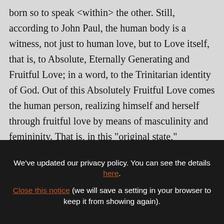born so to speak <within> the other. Still, according to John Paul, the human body is a witness, not just to human love, but to Love itself, that is, to Absolute, Eternally Generating and Fruitful Love; in a word, to the Trinitarian identity of God. Out of this Absolutely Fruitful Love comes the human person, realizing himself and herself through fruitful love by means of masculinity and femininity. That is, in this "original state," awareness of the nuptial meaning of the body is awareness of
We've updated our privacy policy. You can see the details here. Close this notice (we will save a setting in your browser to keep it from showing again).